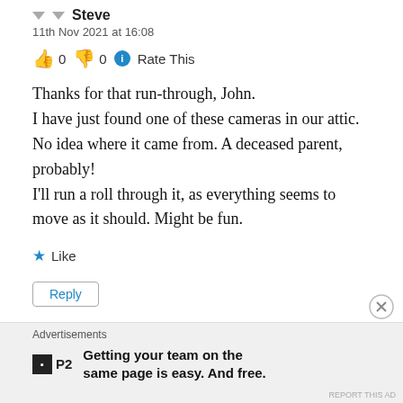Steve
11th Nov 2021 at 16:08
👍 0 👎 0 ℹ Rate This
Thanks for that run-through, John.
I have just found one of these cameras in our attic. No idea where it came from. A deceased parent, probably!
I'll run a roll through it, as everything seems to move as it should. Might be fun.
★ Like
Reply
Advertisements
P2 Getting your team on the same page is easy. And free.